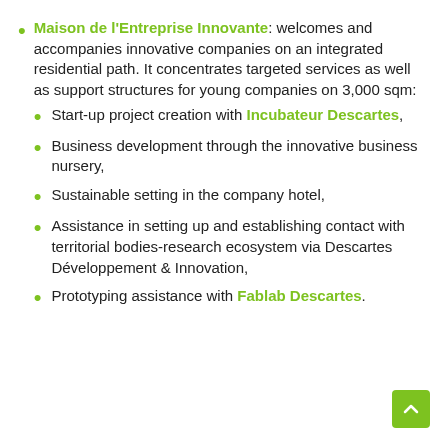Maison de l'Entreprise Innovante: welcomes and accompanies innovative companies on an integrated residential path. It concentrates targeted services as well as support structures for young companies on 3,000 sqm:
Start-up project creation with Incubateur Descartes,
Business development through the innovative business nursery,
Sustainable setting in the company hotel,
Assistance in setting up and establishing contact with territorial bodies-research ecosystem via Descartes Développement & Innovation,
Prototyping assistance with Fablab Descartes.